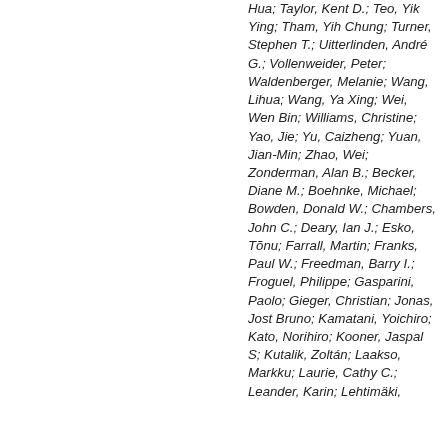Hua; Taylor, Kent D.; Teo, Yik Ying; Tham, Yih Chung; Turner, Stephen T.; Uitterlinden, André G.; Vollenweider, Peter; Waldenberger, Melanie; Wang, Lihua; Wang, Ya Xing; Wei, Wen Bin; Williams, Christine; Yao, Jie; Yu, Caizheng; Yuan, Jian-Min; Zhao, Wei; Zonderman, Alan B.; Becker, Diane M.; Boehnke, Michael; Bowden, Donald W.; Chambers, John C.; Deary, Ian J.; Esko, Tõnu; Farrall, Martin; Franks, Paul W.; Freedman, Barry I.; Froguel, Philippe; Gasparini, Paolo; Gieger, Christian; Jonas, Jost Bruno; Kamatani, Yoichiro; Kato, Norihiro; Kooner, Jaspal S; Kutalik, Zoltán; Laakso, Markku; Laurie, Cathy C.; Leander, Karin; Lehtimäki,